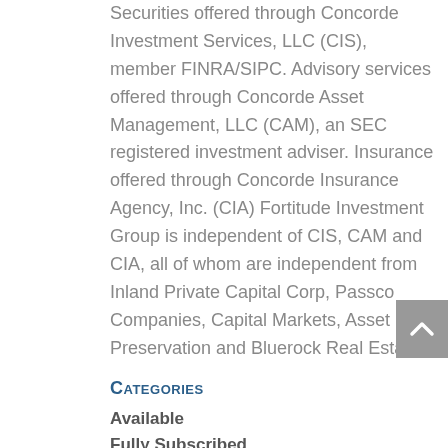Securities offered through Concorde Investment Services, LLC (CIS), member FINRA/SIPC. Advisory services offered through Concorde Asset Management, LLC (CAM), an SEC registered investment adviser. Insurance offered through Concorde Insurance Agency, Inc. (CIA) Fortitude Investment Group is independent of CIS, CAM and CIA, all of whom are independent from Inland Private Capital Corp, Passco Companies, Capital Markets, Asset Preservation and Bluerock Real Estate.
Categories
Available
Fully Subscribed